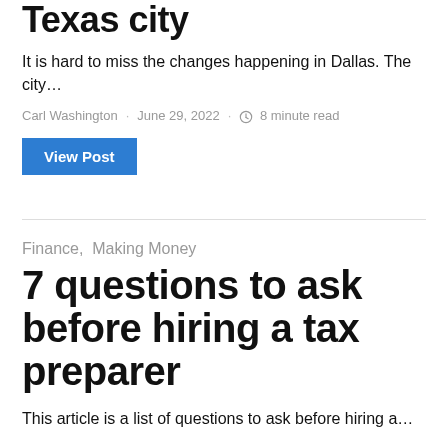Texas city
It is hard to miss the changes happening in Dallas. The city…
Carl Washington · June 29, 2022 · 🕐 8 minute read
View Post
Finance,  Making Money
7 questions to ask before hiring a tax preparer
This article is a list of questions to ask before hiring a…